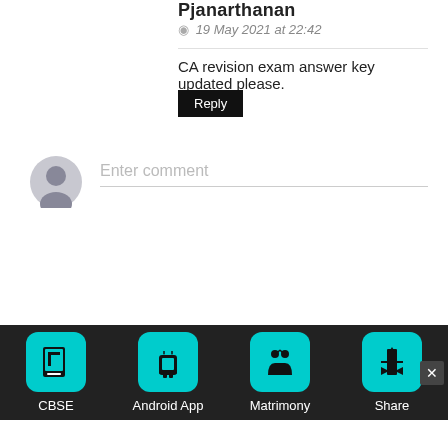Pjanarthanan
19 May 2021 at 22:42
CA revision exam answer key updated please.
Reply
[Figure (illustration): Default user avatar icon - grey silhouette of a person on light grey circular background]
Enter comment
[Figure (infographic): Bottom navigation bar with four teal app icons: CBSE (book icon), Android App (android robot icon), Matrimony (couple icon), Share (share icon). Dark background with white labels. Close button (x) on far right.]